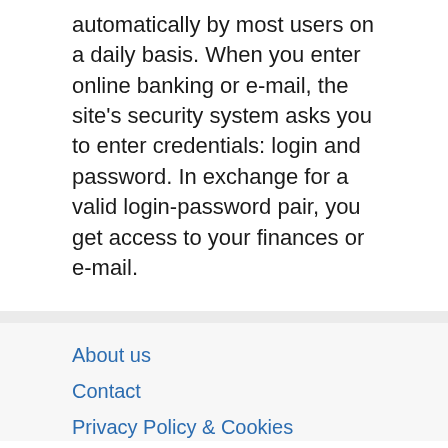automatically by most users on a daily basis. When you enter online banking or e-mail, the site's security system asks you to enter credentials: login and password. In exchange for a valid login-password pair, you get access to your finances or e-mail.
About us
Contact
Privacy Policy & Cookies
ATTENTION TO RIGHT HOLDERS! All materials are posted on the site strictly for informational and educational purposes! If you believe that the posting of any material